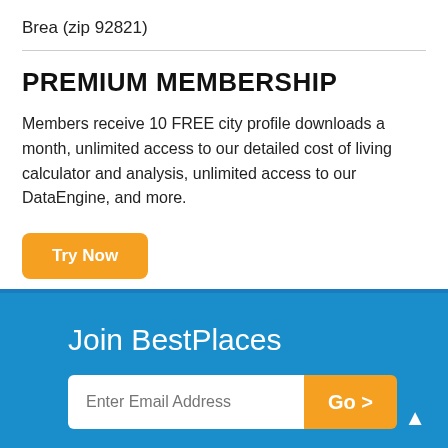Brea (zip 92821)
PREMIUM MEMBERSHIP
Members receive 10 FREE city profile downloads a month, unlimited access to our detailed cost of living calculator and analysis, unlimited access to our DataEngine, and more.
Try Now
Join BestPlaces
Enter Email Address
Go >